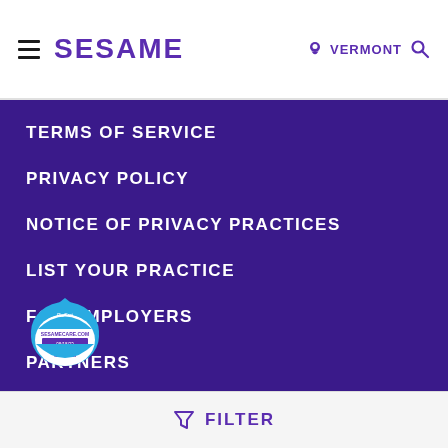SESAME | VERMONT
TERMS OF SERVICE
PRIVACY POLICY
NOTICE OF PRIVACY PRACTICES
LIST YOUR PRACTICE
FOR EMPLOYERS
PARTNERS
NEWSROOM
HELP
[Figure (logo): DigiCert / TrustCloud badge for SESAMECARE.COM, certified seal]
FILTER